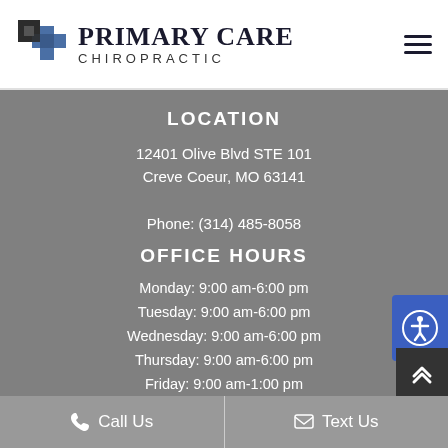[Figure (logo): Primary Care Chiropractic logo with stylized cross/chevron icon in dark blue and grey, and text 'PRIMARY CARE CHIROPRACTIC']
LOCATION
12401 Olive Blvd STE 101
Creve Coeur, MO 63141

Phone: (314) 485-8058
OFFICE HOURS
Monday: 9:00 am-6:00 pm
Tuesday: 9:00 am-6:00 pm
Wednesday: 9:00 am-6:00 pm
Thursday: 9:00 am-6:00 pm
Friday: 9:00 am-1:00 pm
Saturday: By Appointment Only
Sunday: Closed
Call Us   Text Us